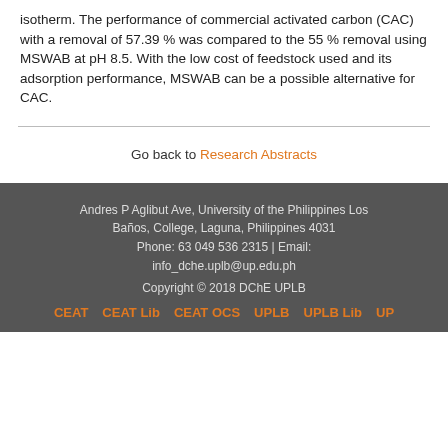isotherm. The performance of commercial activated carbon (CAC) with a removal of 57.39 % was compared to the 55 % removal using MSWAB at pH 8.5. With the low cost of feedstock used and its adsorption performance, MSWAB can be a possible alternative for CAC.
Go back to Research Abstracts
Andres P Aglibut Ave, University of the Philippines Los Baños, College, Laguna, Philippines 4031
Phone: 63 049 536 2315 | Email: info_dche.uplb@up.edu.ph
Copyright © 2018 DChE UPLB
CEAT | CEAT Lib | CEAT OCS | UPLB | UPLB Lib | UP